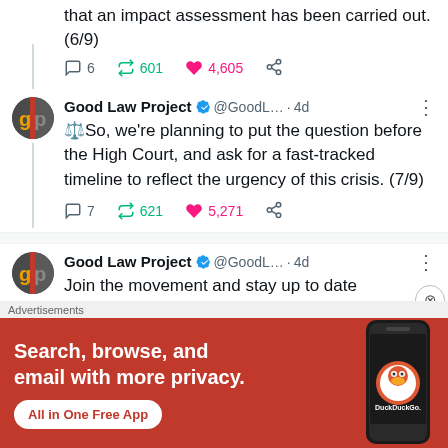that an impact assessment has been carried out. (6/9)
6  601  4,605
[Figure (screenshot): Good Law Project tweet: So, we're planning to put the question before the High Court, and ask for a fast-tracked timeline to reflect the urgency of this crisis. (7/9) — 7 replies, 621 retweets, 5,271 likes]
[Figure (screenshot): Good Law Project tweet partial: Join the movement and stay up to date]
Advertisements
[Figure (infographic): DuckDuckGo advertisement: Search, browse, and email with more privacy. All in One Free App]